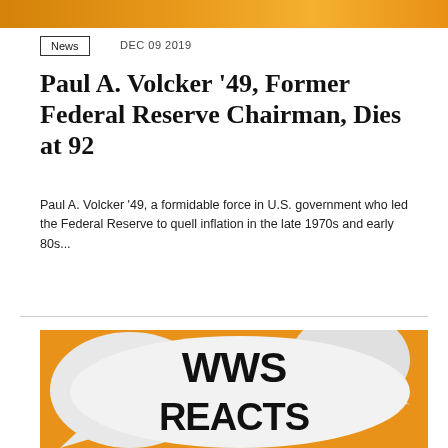[Figure (photo): Top banner image with orange/amber gradient background]
News
DEC 09 2019
Paul A. Volcker '49, Former Federal Reserve Chairman, Dies at 92
Paul A. Volcker '49, a formidable force in U.S. government who led the Federal Reserve to quell inflation in the late 1970s and early 80s...
[Figure (illustration): WWS Reacts graphic with bold black text on white speech bubble shapes against orange background]